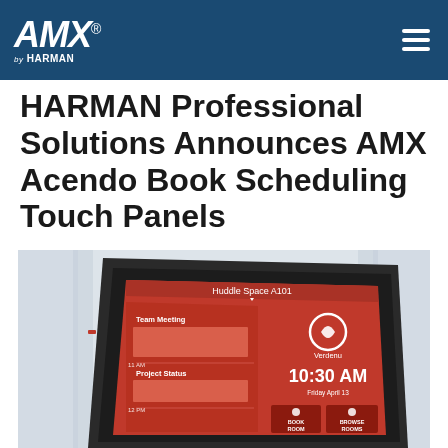AMX by HARMAN
HARMAN Professional Solutions Announces AMX Acendo Book Scheduling Touch Panels
[Figure (photo): AMX Acendo Book scheduling touch panel device showing a red interface screen with 'Huddle Space A101' header, team meeting schedule, Verdenu logo, time 10:30 AM, Friday April 13, and BOOK ROOM / BROWSE ROOMS buttons]